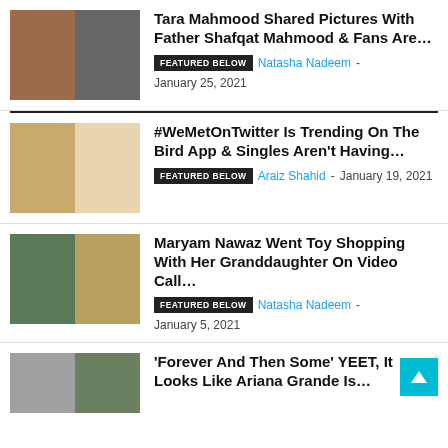[Figure (photo): Thumbnail images for article 1: color photo of woman and black-and-white family photo]
Tara Mahmood Shared Pictures With Father Shafqat Mahmood & Fans Are…
FEATURED BELOW  Natasha Nadeem - January 25, 2021
[Figure (photo): Thumbnail images for article 2: Twitter meme screenshots]
#WeMetOnTwitter Is Trending On The Bird App & Singles Aren't Having…
FEATURED BELOW  Araiz Shahid - January 19, 2021
[Figure (photo): Thumbnail images for article 3: toy store and person with phone]
Maryam Nawaz Went Toy Shopping With Her Granddaughter On Video Call…
FEATURED BELOW  Natasha Nadeem - January 5, 2021
[Figure (photo): Thumbnail images for article 4: two people]
'Forever And Then Some' YEET, It Looks Like Ariana Grande Is…